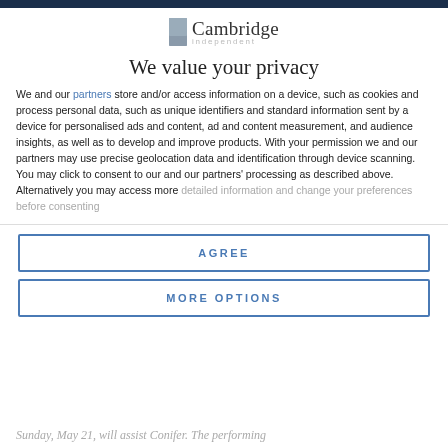[Figure (logo): Cambridge Independent logo with grey bookmark icon and serif text]
We value your privacy
We and our partners store and/or access information on a device, such as cookies and process personal data, such as unique identifiers and standard information sent by a device for personalised ads and content, ad and content measurement, and audience insights, as well as to develop and improve products. With your permission we and our partners may use precise geolocation data and identification through device scanning. You may click to consent to our and our partners' processing as described above. Alternatively you may access more detailed information and change your preferences before consenting
AGREE
MORE OPTIONS
Sunday, May 21, will assist Conifer. The performing